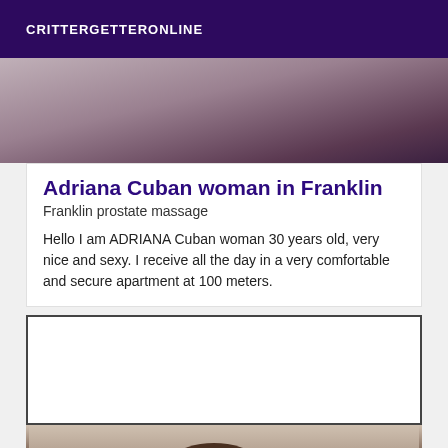CRITTERGETTERONLINE
[Figure (photo): Partial photo of a person, cropped showing arm/shoulder area with blue clothing, brownish skin tone]
Adriana Cuban woman in Franklin
Franklin prostate massage
Hello I am ADRIANA Cuban woman 30 years old, very nice and sexy. I receive all the day in a very comfortable and secure apartment at 100 meters.
[Figure (photo): White/blank card area followed by partial photo of a person with curly brown hair]